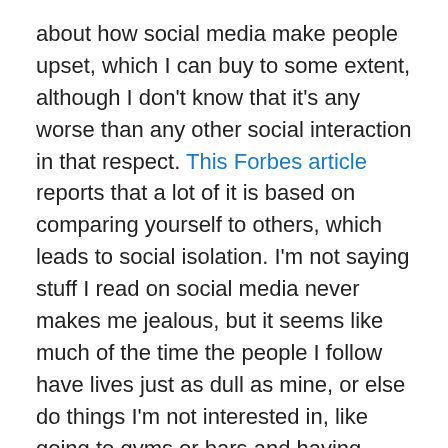about how social media make people upset, which I can buy to some extent, although I don't know that it's any worse than any other social interaction in that respect. This Forbes article reports that a lot of it is based on comparing yourself to others, which leads to social isolation. I'm not saying stuff I read on social media never makes me jealous, but it seems like much of the time the people I follow have lives just as dull as mine, or else do things I'm not interested in, like going to gyms or bars and having kids. You know when being surrounded by people did make me feel isolated? In college. The thing is, I had friends, which is more than you could say about high school, when I pretty much never talked to anyone outside class and some people seemed to genuinely dislike me. But it seemed like all those friends had other friends they liked better, and it was rare that anyone sought me out. I